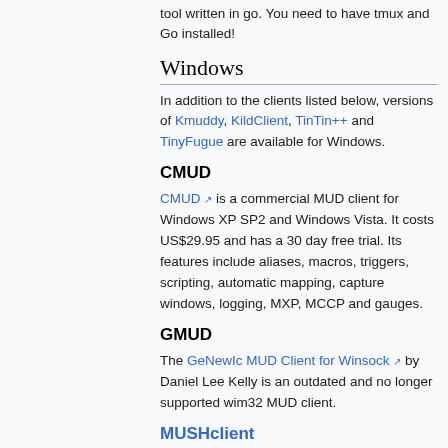tool written in go. You need to have tmux and Go installed!
Windows
In addition to the clients listed below, versions of Kmuddy, KildClient, TinTin++ and TinyFugue are available for Windows.
CMUD
CMUD is a commercial MUD client for Windows XP SP2 and Windows Vista. It costs US$29.95 and has a 30 day free trial. Its features include aliases, macros, triggers, scripting, automatic mapping, capture windows, logging, MXP, MCCP and gauges.
GMUD
The GeNewIc MUD Client for Winsock by Daniel Lee Kelly is an outdated and no longer supported wim32 MUD client.
MUSHclient